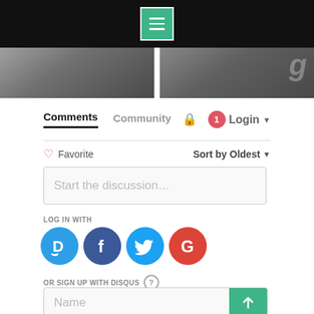[Figure (screenshot): Black top navigation bar with teal menu (hamburger) button in center]
[Figure (screenshot): Two dark gray image panels side-by-side, partial content visible]
Comments  Community  🔒  1  Login ▾
♡ Favorite   Sort by Oldest ▾
Start the discussion...
LOG IN WITH
[Figure (logo): Four social login icons: Disqus (D), Facebook (f), Twitter bird, Google (G)]
OR SIGN UP WITH DISQUS ?
Name